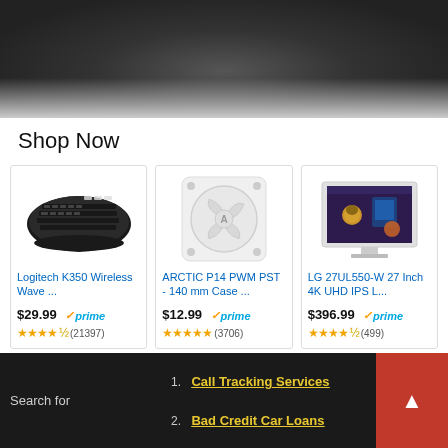[Figure (photo): Top portion of a photo showing a dark object (possibly a keyboard or peripheral) on a light surface]
Shop Now
[Figure (photo): Logitech K350 Wireless Wave keyboard product image on white background]
Logitech K350 Wireless Wave ...
$29.99 prime (21397 reviews, 4.5 stars)
[Figure (photo): ARCTIC P14 PWM PST 140mm case fan product image on white background]
ARCTIC P14 PWM PST - 140 mm Case ...
$12.99 prime (3706 reviews, 5 stars)
[Figure (photo): LG 27UL550-W 27 Inch 4K UHD IPS monitor product image]
LG 27UL550-W 27 Inch 4K UHD IPS L...
$396.99 prime (499 reviews, 4.5 stars)
[Figure (photo): Partial view of a 24-inch monitor product card]
[Figure (photo): Partial view of a third product card]
Search for
1. Call Tracking Services
2. Bad Credit Car Loans